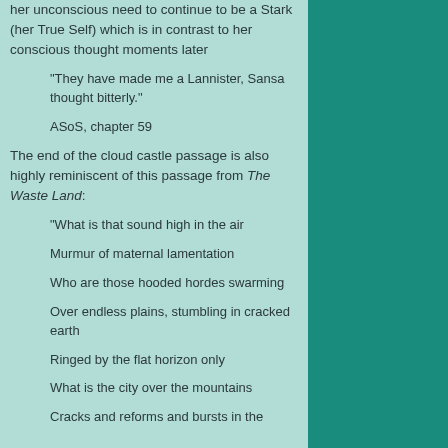her unconscious need to continue to be a Stark (her True Self) which is in contrast to her conscious thought moments later
“They have made me a Lannister, Sansa thought bitterly.”
ASoS, chapter 59
The end of the cloud castle passage is also highly reminiscent of this passage from The Waste Land:
“What is that sound high in the air
Murmur of maternal lamentation
Who are those hooded hordes swarming
Over endless plains, stumbling in cracked earth
Ringed by the flat horizon only
What is the city over the mountains
Cracks and reforms and bursts in the